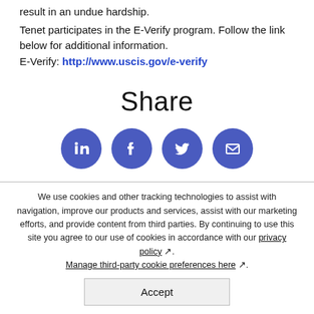result in an undue hardship.
Tenet participates in the E-Verify program. Follow the link below for additional information.
E-Verify: http://www.uscis.gov/e-verify
Share
[Figure (infographic): Four circular social media share buttons: LinkedIn, Facebook, Twitter, and Email, styled in blue.]
We use cookies and other tracking technologies to assist with navigation, improve our products and services, assist with our marketing efforts, and provide content from third parties. By continuing to use this site you agree to our use of cookies in accordance with our privacy policy. Manage third-party cookie preferences here.
Accept